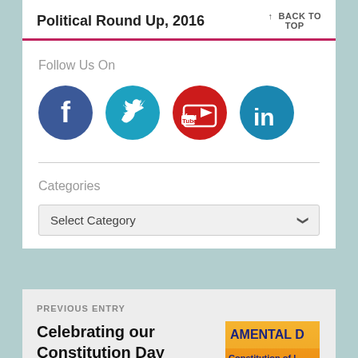Political Round Up, 2016
↑ BACK TO TOP
Follow Us On
[Figure (infographic): Four circular social media icons: Facebook (blue), Twitter (teal), YouTube (red), LinkedIn (teal/blue)]
Categories
Select Category
PREVIOUS ENTRY
Celebrating our Constitution Day
[Figure (photo): Thumbnail image with orange/yellow background showing text: AMENTAL D, Constitution of, Article 51A]